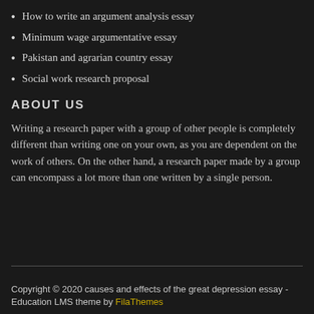How to write an argument analysis essay
Minimum wage argumentative essay
Pakistan and agrarian country essay
Social work research proposal
ABOUT US
Writing a research paper with a group of other people is completely different than writing one on your own, as you are dependent on the work of others. On the other hand, a research paper made by a group can encompass a lot more than one written by a single person.
Copyright © 2020 causes and effects of the great depression essay -
Education LMS theme by FilaThemes